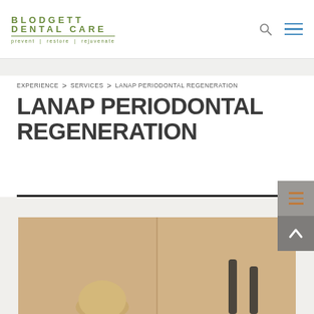BLODGETT DENTAL CARE — prevent | restore | rejuvenate
EXPERIENCE > SERVICES > LANAP PERIODONTAL REGENERATION
LANAP PERIODONTAL REGENERATION
[Figure (photo): Dental office photo showing a patient and dental professional, visible from above the divider line at the bottom of the page]